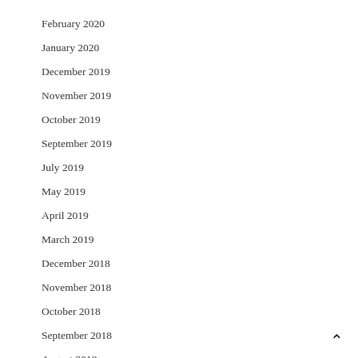February 2020
January 2020
December 2019
November 2019
October 2019
September 2019
July 2019
May 2019
April 2019
March 2019
December 2018
November 2018
October 2018
September 2018
August 2018